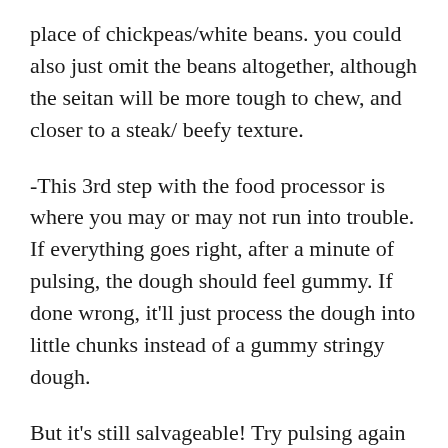place of chickpeas/white beans. you could also just omit the beans altogether, although the seitan will be more tough to chew, and closer to a steak/ beefy texture.
-This 3rd step with the food processor is where you may or may not run into trouble. If everything goes right, after a minute of pulsing, the dough should feel gummy. If done wrong, it'll just process the dough into little chunks instead of a gummy stringy dough.
But it's still salvageable! Try pulsing again for another minute. If it's still just crumbles, add